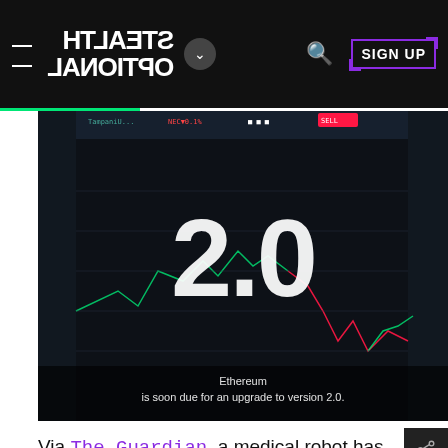STEALTH OPTIONAL — navigation bar with logo, dropdown, search, SIGN UP
[Figure (screenshot): Cryptocurrency trading chart screen showing '2.0' overlaid in large white text. Caption reads: Ethereum is soon due for an upgrade to version 2.0.]
Ethereum
is soon due for an upgrade to version 2.0.
Via The Guardian, a medical robot has successfully completed the first keyhole surgery without human assistance. But is the robotic doctor more successful than is flesh-and-blood counterparts? (Actually, it's quite a bit better!)